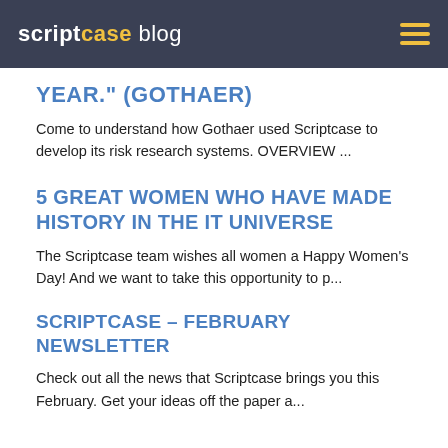scriptcase blog
YEAR." (GOTHAER)
Come to understand how Gothaer used Scriptcase to develop its risk research systems. OVERVIEW ...
5 GREAT WOMEN WHO HAVE MADE HISTORY IN THE IT UNIVERSE
The Scriptcase team wishes all women a Happy Women's Day! And we want to take this opportunity to p...
SCRIPTCASE – FEBRUARY NEWSLETTER
Check out all the news that Scriptcase brings you this February. Get your ideas off the paper a...